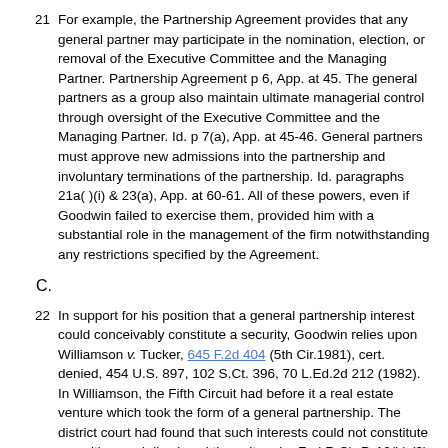21 For example, the Partnership Agreement provides that any general partner may participate in the nomination, election, or removal of the Executive Committee and the Managing Partner. Partnership Agreement p 6, App. at 45. The general partners as a group also maintain ultimate managerial control through oversight of the Executive Committee and the Managing Partner. Id. p 7(a), App. at 45-46. General partners must approve new admissions into the partnership and involuntary terminations of the partnership. Id. paragraphs 21a( )(i) & 23(a), App. at 60-61. All of these powers, even if Goodwin failed to exercise them, provided him with a substantial role in the management of the firm notwithstanding any restrictions specified by the Agreement.
C.
22 In support for his position that a general partnership interest could conceivably constitute a security, Goodwin relies upon Williamson v. Tucker, 645 F.2d 404 (5th Cir.1981), cert. denied, 454 U.S. 897, 102 S.Ct. 396, 70 L.Ed.2d 212 (1982). In Williamson, the Fifth Circuit had before it a real estate venture which took the form of a general partnership. The district court had found that such interests could not constitute securities, and dismissed the suit under Fed.R.Civ.P. 12(h) (3) for lack of subject matter jurisdiction. The Court of Appeals